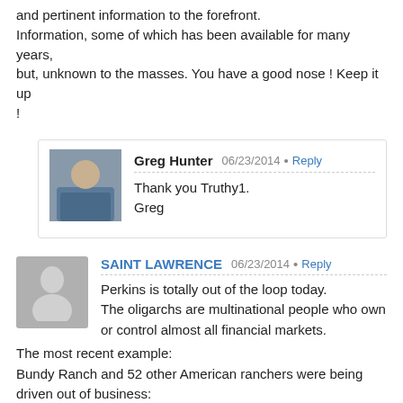and pertinent information to the forefront. Information, some of which has been available for many years, but, unknown to the masses. You have a good nose ! Keep it up !
Greg Hunter  06/23/2014  Reply
Thank you Truthy1.
Greg
SAINT LAWRENCE  06/23/2014  Reply
Perkins is totally out of the loop today.
The oligarchs are multinational people who own or control almost all financial markets.
The most recent example:
Bundy Ranch and 52 other American ranchers were being driven out of business:
The perpetrators were all oligarchs, Harry Ried and Chinese Billionares.